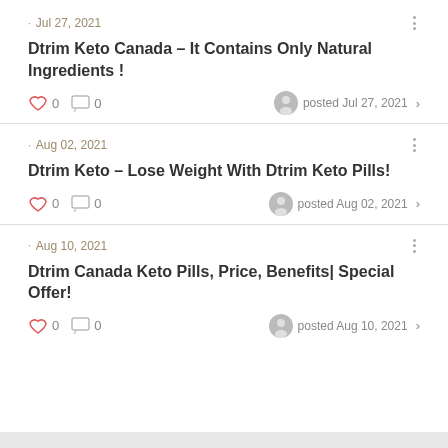Jul 27, 2021 · Dtrim Keto Canada – It Contains Only Natural Ingredients ! · 0 likes · 0 comments · posted Jul 27, 2021
Aug 02, 2021 · Dtrim Keto – Lose Weight With Dtrim Keto Pills! · 0 likes · 0 comments · posted Aug 02, 2021
Aug 10, 2021 · Dtrim Canada Keto Pills, Price, Benefits| Special Offer! · 0 likes · 0 comments · posted Aug 10, 2021